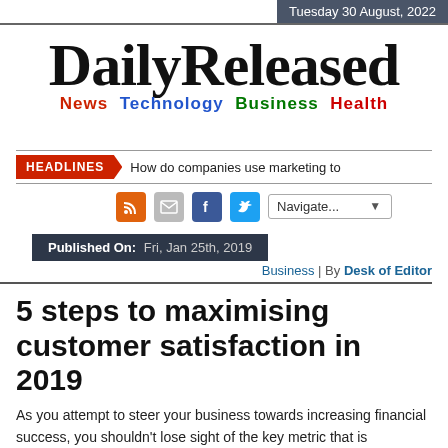Tuesday 30 August, 2022
DailyReleased
News Technology Business Health
HEADLINES  How do companies use marketing to
[Figure (infographic): Social share icons: RSS (orange), Email (grey), Facebook (blue), Twitter (blue)]
Navigate...
Published On: Fri, Jan 25th, 2019
Business | By Desk of Editor
5 steps to maximising customer satisfaction in 2019
As you attempt to steer your business towards increasing financial success, you shouldn't lose sight of the key metric that is profitability.